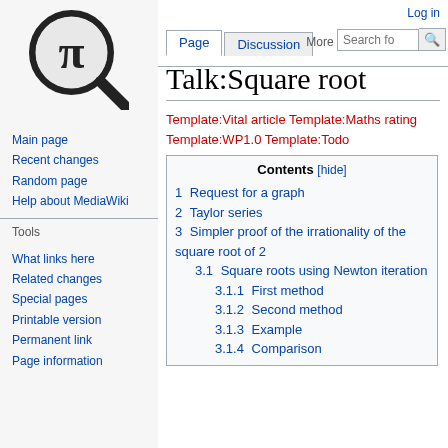[Figure (logo): Wikipedia Math logo: pi symbol inside a magnifying glass]
Log in
Page | Discussion | More ▾
Talk:Square root
Template:Vital article Template:Maths rating Template:WP1.0 Template:Todo
Main page
Recent changes
Random page
Help about MediaWiki
Tools
What links here
Related changes
Special pages
Printable version
Permanent link
Page information
| Contents [hide] |
| --- |
| 1  Request for a graph |
| 2  Taylor series |
| 3  Simpler proof of the irrationality of the square root of 2 |
| 3.1  Square roots using Newton iteration |
| 3.1.1  First method |
| 3.1.2  Second method |
| 3.1.3  Example |
| 3.1.4  Comparison |